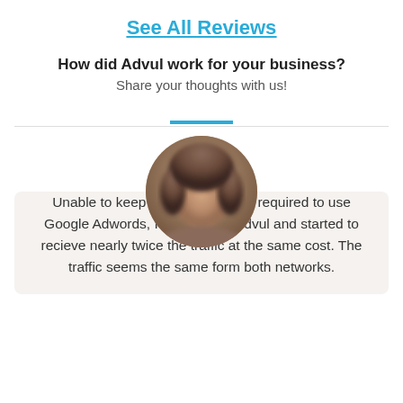See All Reviews
How did Advul work for your business?
Share your thoughts with us!
[Figure (photo): Circular blurred portrait photo of a person, used as a reviewer avatar]
Unable to keep up with the costs required to use Google Adwords, I switched to Advul and started to recieve nearly twice the traffic at the same cost. The traffic seems the same form both networks.